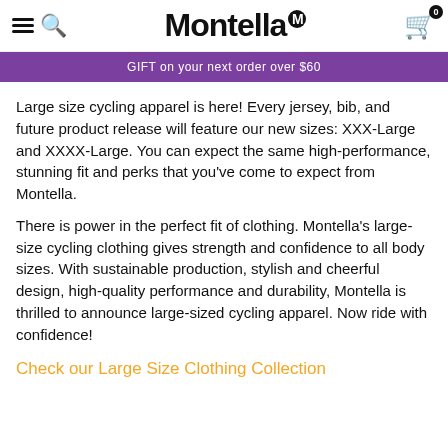Montella
GIFT on your next order over $60
Large size cycling apparel is here! Every jersey, bib, and future product release will feature our new sizes: XXX-Large and XXXX-Large. You can expect the same high-performance, stunning fit and perks that you've come to expect from Montella.
There is power in the perfect fit of clothing. Montella's large-size cycling clothing gives strength and confidence to all body sizes. With sustainable production, stylish and cheerful design, high-quality performance and durability, Montella is thrilled to announce large-sized cycling apparel. Now ride with confidence!
Check our Large Size Clothing Collection